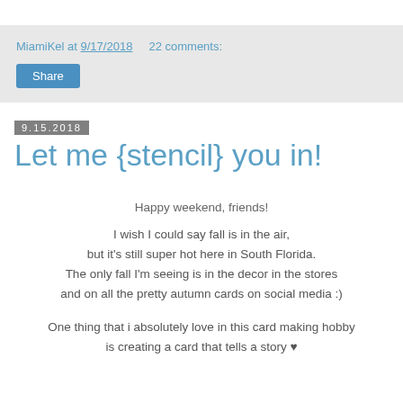MiamiKel at 9/17/2018   22 comments:
Share
9.15.2018
Let me {stencil} you in!
Happy weekend, friends!
I wish I could say fall is in the air, but it's still super hot here in South Florida. The only fall I'm seeing is in the decor in the stores and on all the pretty autumn cards on social media :)
One thing that i absolutely love in this card making hobby is creating a card that tells a story ♥